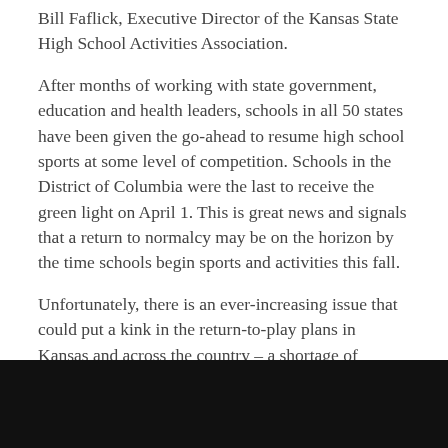Bill Faflick, Executive Director of the Kansas State High School Activities Association.
After months of working with state government, education and health leaders, schools in all 50 states have been given the go-ahead to resume high school sports at some level of competition. Schools in the District of Columbia were the last to receive the green light on April 1. This is great news and signals that a return to normalcy may be on the horizon by the time schools begin sports and activities this fall.
Unfortunately, there is an ever-increasing issue that could put a kink in the return-to-play plans in Kansas and across the country – a shortage of officials, as in referees and umpires, that borders on catastrophic in some sports and in some parts of the nation.
The shortage of officials in high school – and middle school – sports has been a growing concern for several years;